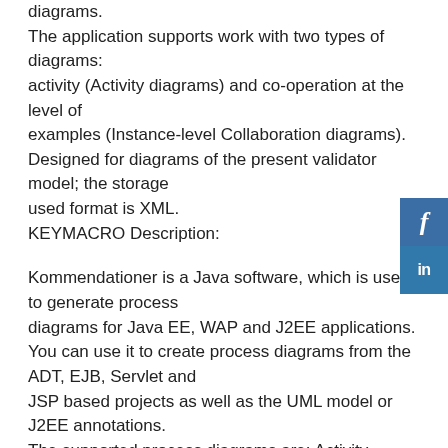diagrams. The application supports work with two types of diagrams: activity (Activity diagrams) and co-operation at the level of examples (Instance-level Collaboration diagrams). Designed for diagrams of the present validator model; the storage used format is XML.
KEYMACRO Description:
Kommendationer is a Java software, which is used to generate process diagrams for Java EE, WAP and J2EE applications. You can use it to create process diagrams from the ADT, EJB, Servlet and JSP based projects as well as the UML model or J2EE annotations.
The supported process diagrams are: Activity